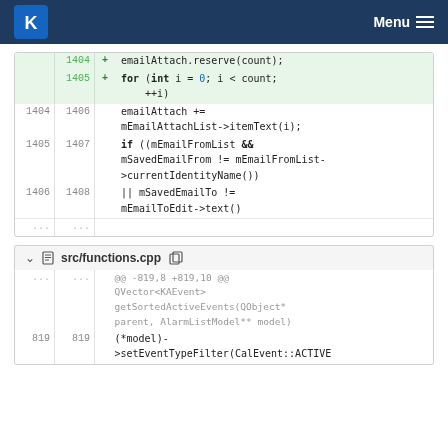KDE Menu
Code diff showing lines 1404-1408 with added lines for emailAttach.reserve(count) and for loop, and existing lines for emailAttach += mEmailAttachList->itemText(i), if ((mEmailFromList && mSavedEmailFrom != mEmailFromList->currentIdentityName())), || mSavedEmailTo != mEmailToEdit->text()
src/functions.cpp
@@ -819,8 +819,10 @@ QVector<KAEvent> getSortedActiveEvents(QObject* parent, AlarmListModel** model) 819 819 (*model)->setEventTypeFilter(CalEvent::ACTIVE